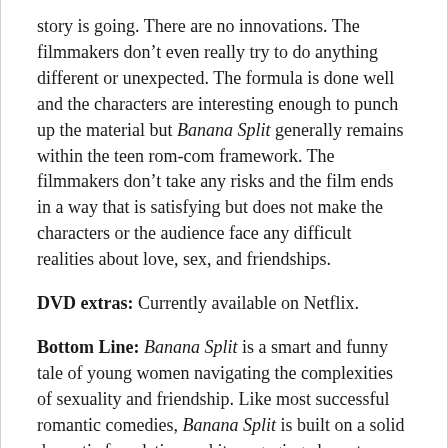story is going. There are no innovations. The filmmakers don't even really try to do anything different or unexpected. The formula is done well and the characters are interesting enough to punch up the material but Banana Split generally remains within the teen rom-com framework. The filmmakers don't take any risks and the film ends in a way that is satisfying but does not make the characters or the audience face any difficult realities about love, sex, and friendships.
DVD extras: Currently available on Netflix.
Bottom Line: Banana Split is a smart and funny tale of young women navigating the complexities of sexuality and friendship. Like most successful romantic comedies, Banana Split is built on a solid dramatic foundation and its engaging characters and funny dialogue elevate the familiar story.